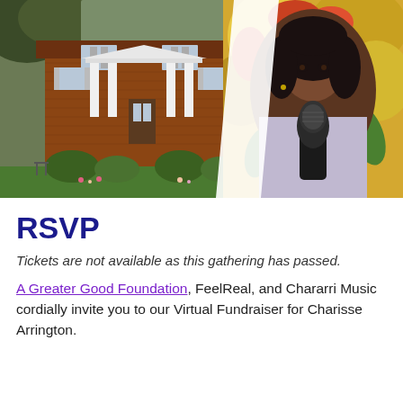[Figure (photo): Composite image: left side shows a brick colonial house with white columns, green bushes and lawn; right side shows a Black woman with natural hair speaking into a microphone, with a colorful floral background. A diagonal divider separates the two photos.]
RSVP
Tickets are not available as this gathering has passed.
A Greater Good Foundation, FeelReal, and Chararri Music cordially invite you to our Virtual Fundraiser for Charisse Arrington.